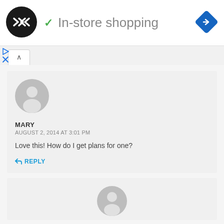[Figure (logo): Black circle logo with double arrow/chevron symbol in white]
In-store shopping
[Figure (logo): Blue diamond navigation arrow icon]
MARY
AUGUST 2, 2014 AT 3:01 PM
Love this! How do I get plans for one?
REPLY